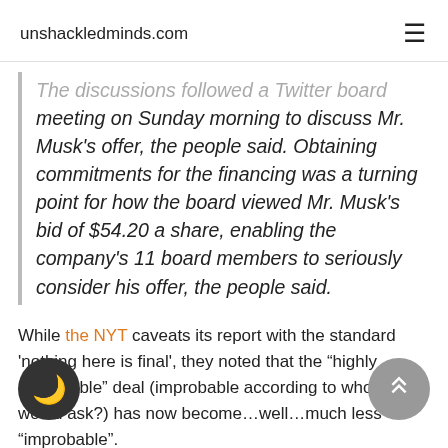unshackledminds.com
The discussions followed a Twitter board meeting on Sunday morning to discuss Mr. Musk's offer, the people said. Obtaining commitments for the financing was a turning point for how the board viewed Mr. Musk's bid of $54.20 a share, enabling the company's 11 board members to seriously consider his offer, the people said.
While the NYT caveats its report with the standard 'nothing here is final', they noted that the "highly improbable" deal (improbable according to who, as would ask?) has now become…well…much less "improbable".